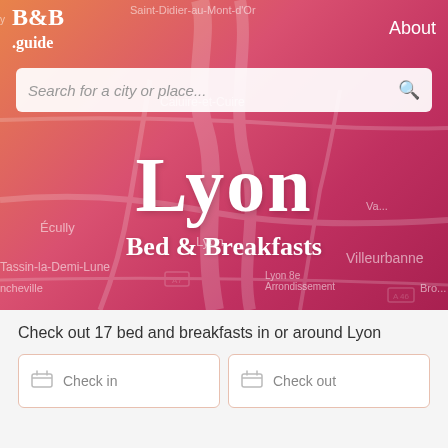[Figure (screenshot): B&B Guide website screenshot showing Lyon page with orange-red gradient background map overlay, navigation bar with B&B.guide logo and About link, search bar, and city title 'Lyon Bed & Breakfasts']
B&B .guide
About
Search for a city or place...
Lyon
Bed & Breakfasts
Check out 17 bed and breakfasts in or around Lyon
Check in
Check out